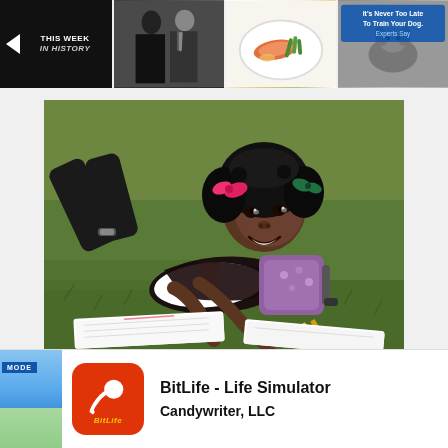[Figure (screenshot): Top thumbnail strip showing: left arrow with 'This Week In History' text on dark background, photo of two people in formal wear, photo of food on a plate, advertisement with text 'It's Never Too Late To Train Your Dog. Experts Say']
[Figure (photo): A young Black girl lying on grass, smiling at camera, wearing white shirt and dark vest with pink hair accessories, holding a pencil, with books open in front of her and a purple backpack visible]
[Figure (screenshot): Partial blue background advertisement on left edge (MODE label visible)]
[Figure (logo): BitLife app icon: orange/red rounded square with white sperm cell illustration and yellow 'BitLife' text]
BitLife - Life Simulator
Candywriter, LLC